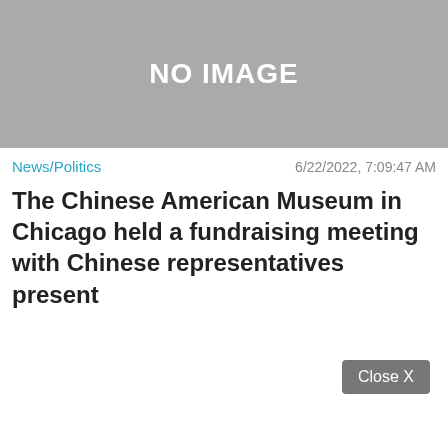[Figure (other): Gray placeholder image with text NO IMAGE]
News/Politics
6/22/2022, 7:09:47 AM
The Chinese American Museum in Chicago held a fundraising meeting with Chinese representatives present
Close X